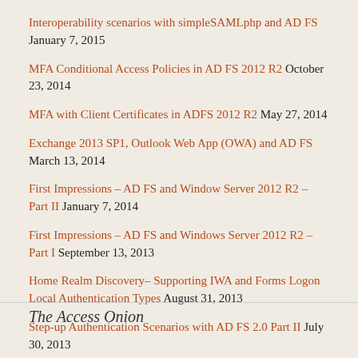Interoperability scenarios with simpleSAMLphp and AD FS January 7, 2015
MFA Conditional Access Policies in AD FS 2012 R2 October 23, 2014
MFA with Client Certificates in ADFS 2012 R2 May 27, 2014
Exchange 2013 SP1, Outlook Web App (OWA) and AD FS March 13, 2014
First Impressions – AD FS and Window Server 2012 R2 – Part II January 7, 2014
First Impressions – AD FS and Windows Server 2012 R2 – Part I September 13, 2013
Home Realm Discovery– Supporting IWA and Forms Logon Local Authentication Types August 31, 2013
Step-up Authentication Scenarios with AD FS 2.0 Part II July 30, 2013
The Access Onion